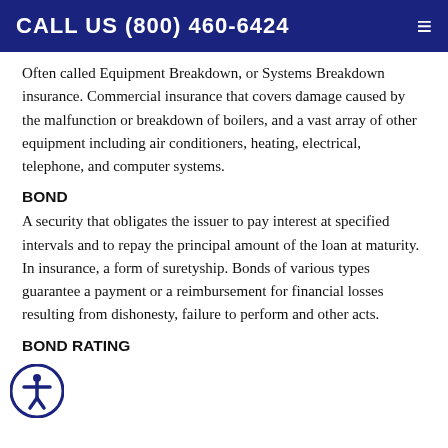CALL US (800) 460-6424
Often called Equipment Breakdown, or Systems Breakdown insurance. Commercial insurance that covers damage caused by the malfunction or breakdown of boilers, and a vast array of other equipment including air conditioners, heating, electrical, telephone, and computer systems.
BOND
A security that obligates the issuer to pay interest at specified intervals and to repay the principal amount of the loan at maturity. In insurance, a form of suretyship. Bonds of various types guarantee a payment or a reimbursement for financial losses resulting from dishonesty, failure to perform and other acts.
BOND RATING